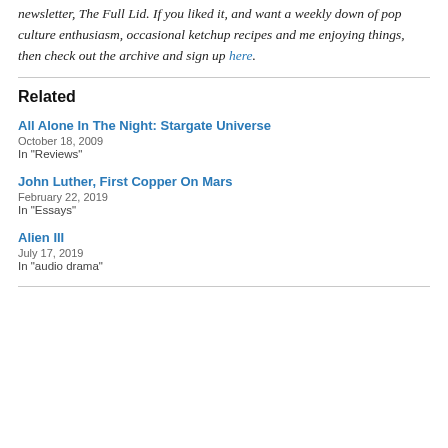newsletter, The Full Lid. If you liked it, and want a weekly down of pop culture enthusiasm, occasional ketchup recipes and me enjoying things, then check out the archive and sign up here.
Related
All Alone In The Night: Stargate Universe
October 18, 2009
In "Reviews"
John Luther, First Copper On Mars
February 22, 2019
In "Essays"
Alien III
July 17, 2019
In "audio drama"